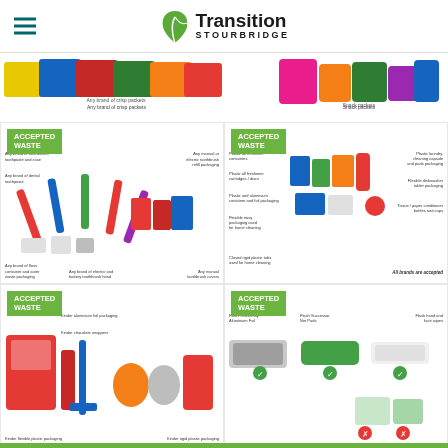[Figure (logo): Transition Stourbridge logo with green leaf icon and hamburger menu]
[Figure (photo): Any brand of crisp packets - colourful multipack]
Any brand of crisp packets
[Figure (photo): Snack packets - colourful crisp/snack packets]
Snack packets
[Figure (infographic): Accepted Waste - oral care products: toothbrushes, toothpaste, dental floss and packaging]
[Figure (infographic): Accepted Waste - cleaning products: plastic containers, cleaning tablets, laundry packaging, rigid plastic tubs]
[Figure (infographic): Accepted Waste - Kinder packaging: chocolate wrappers, aluminium foil packaging, rigid plastic packaging]
[Figure (infographic): Accepted Waste - Flash Tracermay aluminium foil, Flash Successor Net Pads, Flash hand and face wipes]